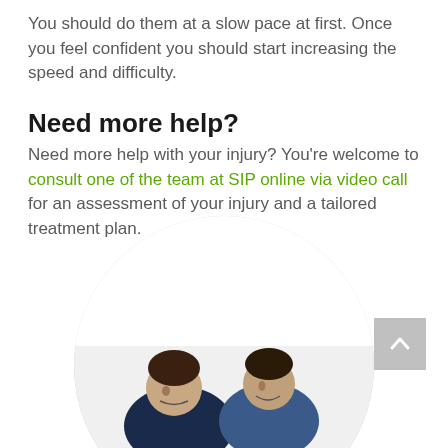You should do them at a slow pace at first. Once you feel confident you should start increasing the speed and difficulty.
Need more help?
Need more help with your injury? You're welcome to consult one of the team at SIP online via video call for an assessment of your injury and a tailored treatment plan.
[Figure (photo): Two people smiling, shown upside down inside a circular cropped photo at the bottom of the page. One person wearing a blue outfit.]